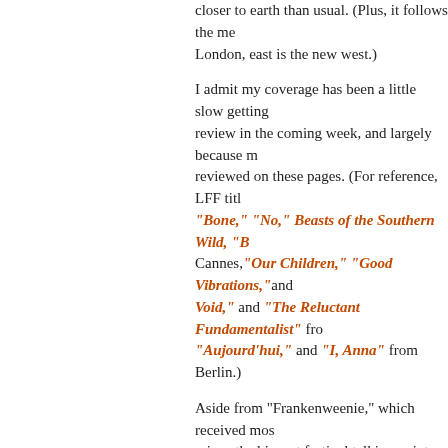closer to earth than usual. (Plus, it follows the me... London, east is the new west.)
I admit my coverage has been a little slow getting review in the coming week, and largely because m reviewed on these pages. (For reference, LFF titl Bone," "No," Beasts of the Southern Wild," "B Cannes, "Our Children," "Good Vibrations," and Void," and "The Reluctant Fundamentalist" fro "Aujourd'hui," and "I, Anna" from Berlin.)
Aside from "Frankenweenie," which received mos raiser, the biggest festival talking points of the ope Cannes hit "The Hunt," which keeps accruing ecs distance; "Beasts of the Southern Wild," which co its Stateside opening; "Ginger & Rosa," which I ha debut, with much talk about Elle Fanning's perfor be strengthening after a divided Cannes reception
On a recent Oscar Talk podcast, Anne Thompson respond to Jacques Audiard's dark melodrama; I, moved to tears by the film, and the film's UK mark billboards around London. It'll be interesting to se
For my part, my favourite first encounter of the fe